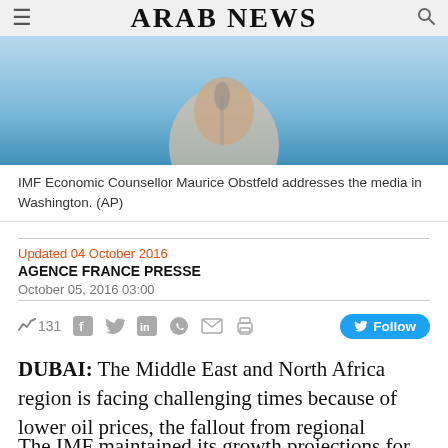ARAB NEWS
[Figure (photo): IMF Economic Counsellor Maurice Obstfeld addresses the media in Washington. Header photo with blue background.]
IMF Economic Counsellor Maurice Obstfeld addresses the media in Washington. (AP)
Updated 04 October 2016
AGENCE FRANCE PRESSE
October 05, 2016 03:00
131
Follow
DUBAI: The Middle East and North Africa region is facing challenging times because of lower oil prices, the fallout from regional tensions and civil conflict, the International Monetary Fund said.
The IMF maintained its growth projections for